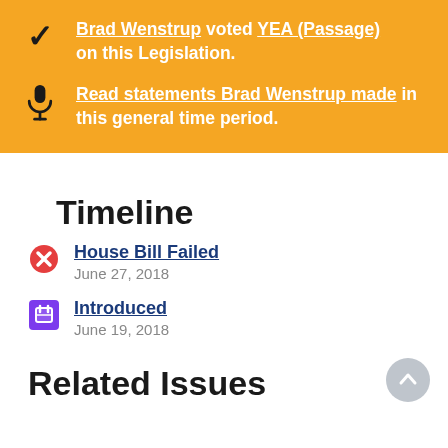Brad Wenstrup voted YEA (Passage) on this Legislation.
Read statements Brad Wenstrup made in this general time period.
Timeline
House Bill Failed — June 27, 2018
Introduced — June 19, 2018
Related Issues